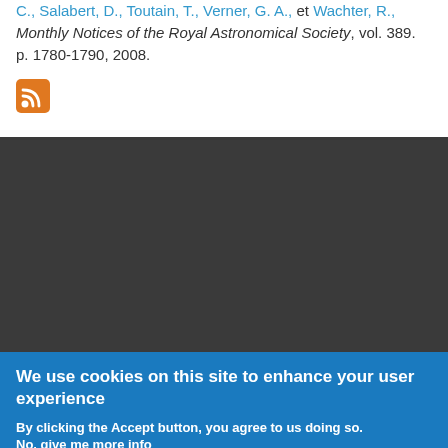C., Salabert, D., Toutain, T., Verner, G. A., et Wachter, R., Monthly Notices of the Royal Astronomical Society, vol. 389. p. 1780-1790, 2008.
[Figure (other): RSS feed icon (orange square with white RSS symbol)]
We use cookies on this site to enhance your user experience
By clicking the Accept button, you agree to us doing so.
No, give me more info
OK, I agree   No, thanks